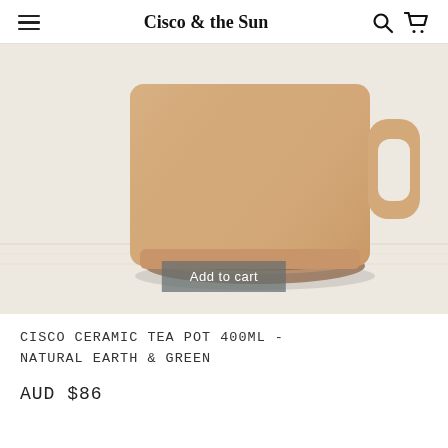Cisco & the Sun
[Figure (photo): Close-up photo of a ceramic tea pot / mug with a sandy natural earth tone speckled finish, sitting on a round wooden coaster, on a linen-textured surface. The mug has a rectangular handle on the right side. An 'Add to cart' button overlay appears near the bottom center of the image.]
CISCO CERAMIC TEA POT 400ML - NATURAL EARTH & GREEN
AUD $86